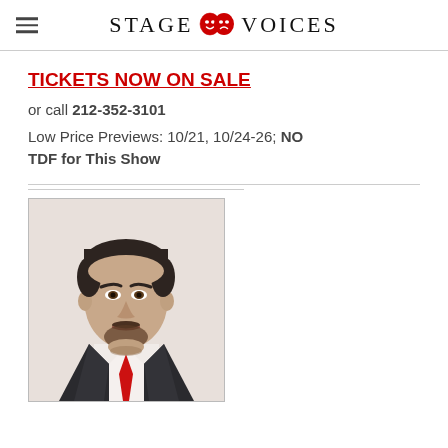STAGE VOICES
TICKETS NOW ON SALE
or call 212-352-3101
Low Price Previews: 10/21, 10/24-26; NO TDF for This Show
[Figure (photo): Headshot of a man with dark hair, beard, wearing a black leather jacket and red tie, with a white shirt. Portrait style photo from shoulders up.]